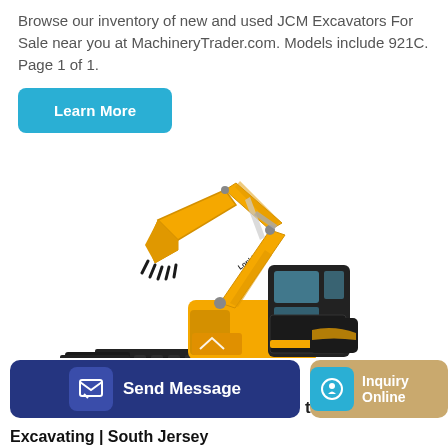Browse our inventory of new and used JCM Excavators For Sale near you at MachineryTrader.com. Models include 921C. Page 1 of 1.
Learn More
[Figure (photo): Orange JCM 921C excavator on white background, showing extended arm with bucket attachment and tracked undercarriage with blade]
Send Message
tors
Inquiry Online
Excavating | South Jersey